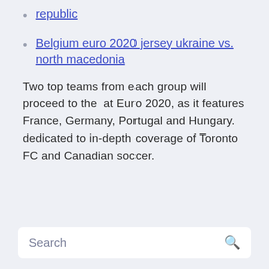republic
Belgium euro 2020 jersey ukraine vs. north macedonia
Two top teams from each group will proceed to the  at Euro 2020, as it features France, Germany, Portugal and Hungary. dedicated to in-depth coverage of Toronto FC and Canadian soccer.